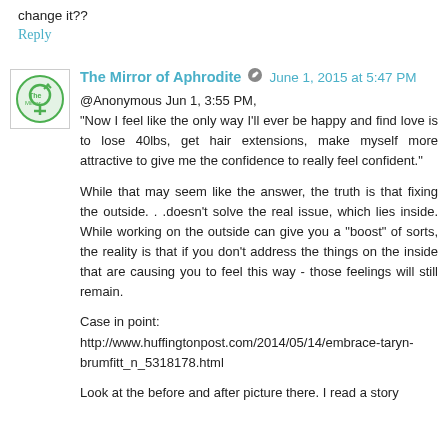change it??
Reply
The Mirror of Aphrodite  ✏  June 1, 2015 at 5:47 PM
@Anonymous Jun 1, 3:55 PM,
"Now I feel like the only way I'll ever be happy and find love is to lose 40lbs, get hair extensions, make myself more attractive to give me the confidence to really feel confident."
While that may seem like the answer, the truth is that fixing the outside. . .doesn't solve the real issue, which lies inside. While working on the outside can give you a "boost" of sorts, the reality is that if you don't address the things on the inside that are causing you to feel this way - those feelings will still remain.
Case in point:
http://www.huffingtonpost.com/2014/05/14/embrace-taryn-brumfitt_n_5318178.html
Look at the before and after picture there. I read a story